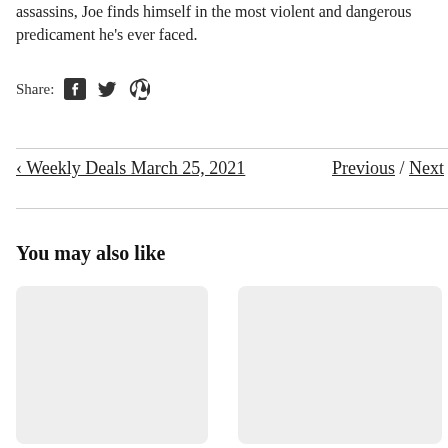assassins, Joe finds himself in the most violent and dangerous predicament he's ever faced.
Share:
‹ Weekly Deals March 25, 2021  Previous / Next
You may also like
[Figure (other): Placeholder card image left]
[Figure (other): Placeholder card image right]